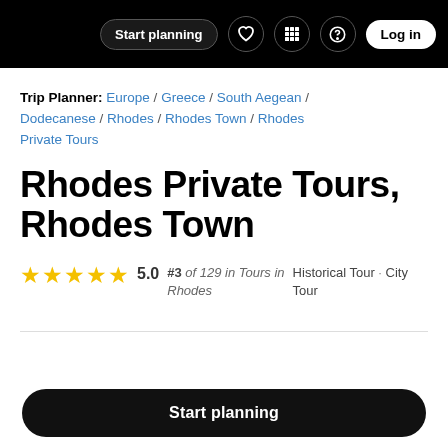Start planning  Log in
Trip Planner: Europe / Greece / South Aegean / Dodecanese / Rhodes / Rhodes Town / Rhodes Private Tours
Rhodes Private Tours, Rhodes Town
5.0   #3 of 129 in Tours in Rhodes   Historical Tour · City Tour
Start planning